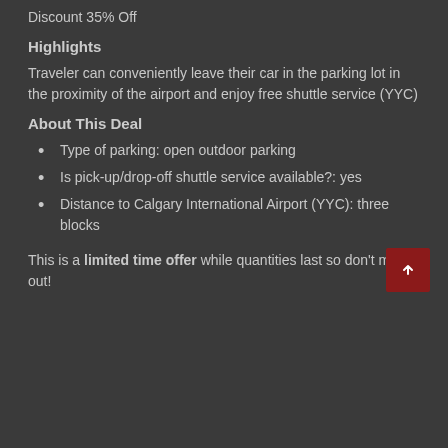Discount 35% Off
Highlights
Traveler can conveniently leave their car in the parking lot in the proximity of the airport and enjoy free shuttle service (YYC)
About This Deal
Type of parking: open outdoor parking
Is pick-up/drop-off shuttle service available?: yes
Distance to Calgary International Airport (YYC): three blocks
This is a limited time offer while quantities last so don't miss out!